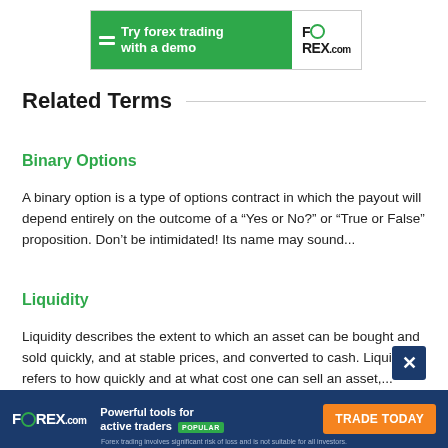[Figure (logo): FOREX.com advertisement banner: green section with 'Try forex trading with a demo' and white section with FOREX.com logo]
Related Terms
Binary Options
A binary option is a type of options contract in which the payout will depend entirely on the outcome of a “Yes or No?” or “True or False” proposition. Don’t be intimidated! Its name may sound...
Liquidity
Liquidity describes the extent to which an asset can be bought and sold quickly, and at stable prices, and converted to cash. Liquidity refers to how quickly and at what cost one can sell an asset,...
[Figure (logo): FOREX.com bottom advertisement bar with tagline 'Powerful tools for active traders POPULAR' and 'TRADE TODAY' button]